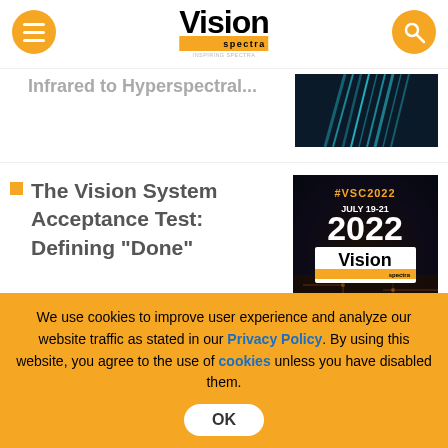Vision Spectra
Infrared to Hyperspectral (truncated)
The Vision System Acceptance Test: Defining "Done"
[Figure (screenshot): VSC2022 Vision Spectra Conference promotional image, July 19-21 2022]
Computational Meta-Optics (truncated)
We use cookies to improve user experience and analyze our website traffic as stated in our Privacy Policy. By using this website, you agree to the use of cookies unless you have disabled them.